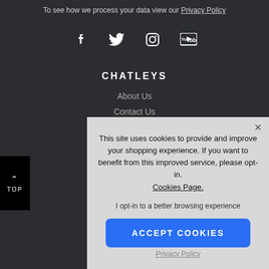To see how we process your data view our Privacy Policy
[Figure (illustration): Social media icons: Facebook, Twitter, Instagram, YouTube]
CHATLEYS
About Us
Contact Us
This site uses cookies to provide and improve your shopping experience. If you want to benefit from this improved service, please opt-in. Cookies Page.
I opt-in to a better browsing experience
ACCEPT COOKIES
Privacy Policy